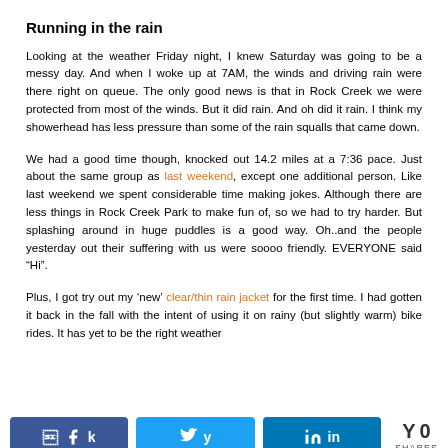Running in the rain
Looking at the weather Friday night, I knew Saturday was going to be a messy day.  And when I woke up at 7AM, the winds and driving rain were there right on queue.  The only good news is that in Rock Creek we were protected from most of the winds.  But it did rain.  And oh did it rain.  I think my showerhead has less pressure than some of the rain squalls that came down.
We had a good time though, knocked out 14.2 miles at a 7:36 pace.  Just about the same group as last weekend, except one additional person.  Like last weekend we spent considerable time making jokes.  Although there are less things in Rock Creek Park to make fun of, so we had to try harder.  But splashing around in huge puddles is a good way.  Oh..and the people yesterday out their suffering with us were soooo friendly.  EVERYONE said “Hi”.
Plus, I got try out my ‘new’ clear/thin rain jacket for the first time.  I had gotten it back in the fall with the intent of using it on rainy (but slightly warm) bike rides.  It has yet to be the right weather